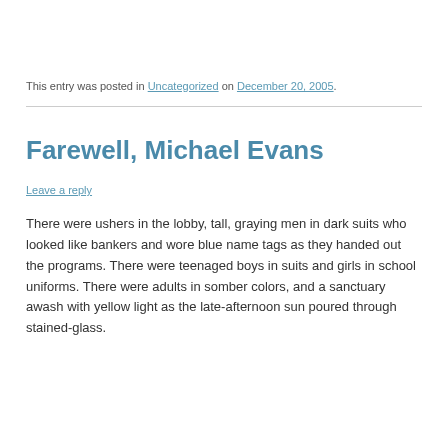This entry was posted in Uncategorized on December 20, 2005.
Farewell, Michael Evans
Leave a reply
There were ushers in the lobby, tall, graying men in dark suits who looked like bankers and wore blue name tags as they handed out the programs. There were teenaged boys in suits and girls in school uniforms. There were adults in somber colors, and a sanctuary awash with yellow light as the late-afternoon sun poured through stained-glass.